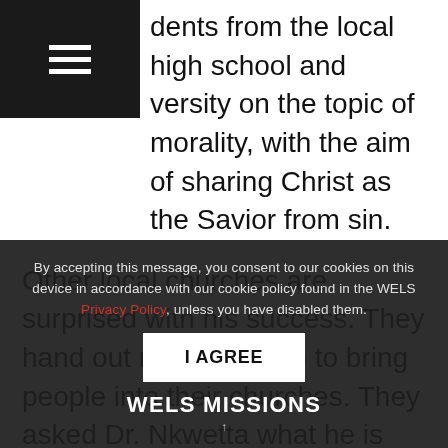dents from the local high school and versity on the topic of morality, with the aim of sharing Christ as the Savior from sin.
Other local churches are surprised with his success. They hand out rice and soap to bring people into their churches. They asked Dr. Nkwetta what he is using to convince the people. He tells them, “The answer is simply that the people are converted by the true Word of God.”
By accepting this message, you consent to our cookies on this device in accordance with our cookie policy found in the WELS Privacy Policy, unless you have disabled them.
I AGREE
WELS MISSIONS